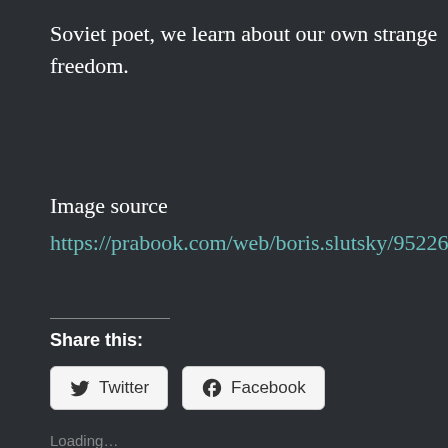Soviet poet, we learn about our own strange freedom.
Image source
https://prabook.com/web/boris.slutsky/952261#galle
Share this:
Twitter
Facebook
Loading...